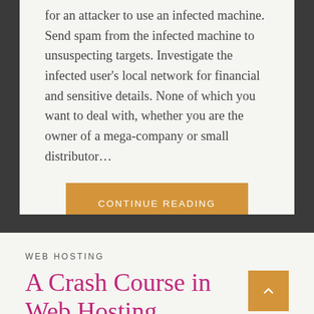for an attacker to use an infected machine. Send spam from the infected machine to unsuspecting targets. Investigate the infected user's local network for financial and sensitive details. None of which you want to deal with, whether you are the owner of a mega-company or small distributor…
CONTINUE READING
WEB HOSTING
A Crash Course in Web Hosting